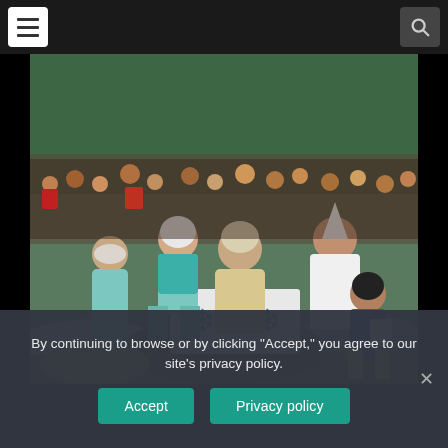[Figure (photo): People dressed in white and teal/blue winter costumes at an outdoor winter festival or ceremony, standing around a decorated board with snowflake designs. A crowd of spectators is visible in the background among snowy trees.]
By continuing to browse or by clicking "Accept," you agree to our site's privacy policy.
Accept
Privacy policy